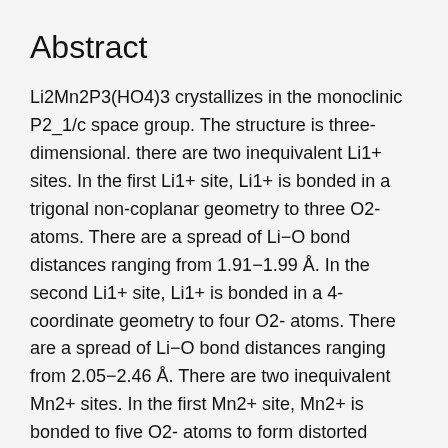Abstract
Li2Mn2P3(HO4)3 crystallizes in the monoclinic P2_1/c space group. The structure is three-dimensional. there are two inequivalent Li1+ sites. In the first Li1+ site, Li1+ is bonded in a trigonal non-coplanar geometry to three O2- atoms. There are a spread of Li−O bond distances ranging from 1.91−1.99 Å. In the second Li1+ site, Li1+ is bonded in a 4-coordinate geometry to four O2- atoms. There are a spread of Li−O bond distances ranging from 2.05−2.46 Å. There are two inequivalent Mn2+ sites. In the first Mn2+ site, Mn2+ is bonded to five O2- atoms to form distorted MnO5 square pyramids that share corners with three PO4 tetrahedra, an edgeedge with one MnO5 square pyramid, and an edgeedge with one PO4 tetrahedra. There are a spread of Mn−O bond distances ranging from 2.08−2.38 Å. In the second Mn2+ site, Mn2+ is bonded in a 5-coordinate geometry to five O2- atoms. There are a spread